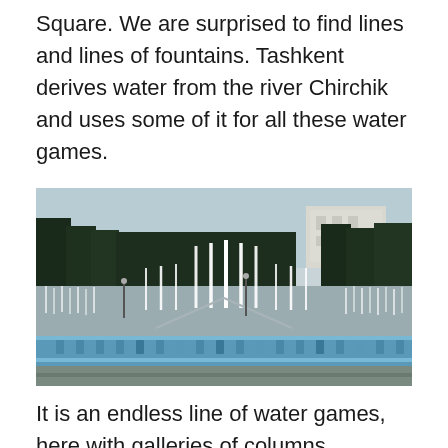Square. We are surprised to find lines and lines of fountains. Tashkent derives water from the river Chirchik and uses some of it for all these water games.
[Figure (photo): A photo of a large fountain display in Tashkent, showing rows of water jets arranged in a rectangular pool, surrounded by trees, with a white building visible in the background on the right.]
It is an endless line of water games, here with galleries of columns.